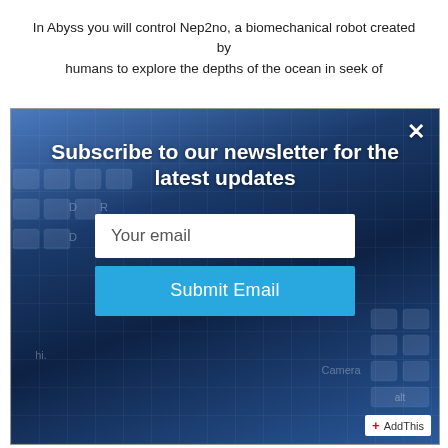In Abyss you will control Nep2no, a biomechanical robot created by humans to explore the depths of the ocean in seek of
[Figure (screenshot): A newsletter subscription modal popup overlaid on a background photo of a laptop keyboard and two smartphones. The modal contains a headline 'Subscribe to our newsletter for the latest updates', an email input field labeled 'Your email', and a blue 'Submit Email' button. A close (×) button appears in the top-right corner. An AddThis badge appears in the bottom-right corner.]